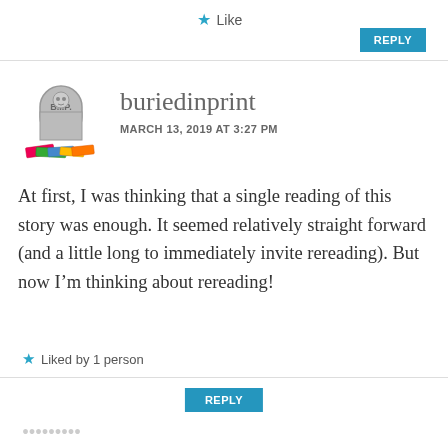Like
REPLY
buriedinprint
MARCH 13, 2019 AT 3:27 PM
At first, I was thinking that a single reading of this story was enough. It seemed relatively straight forward (and a little long to immediately invite rereading). But now I'm thinking about rereading!
Liked by 1 person
REPLY